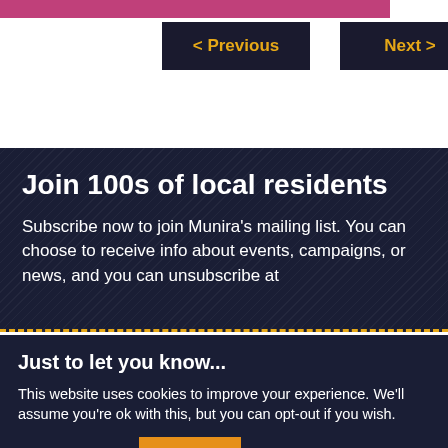[Figure (other): Pink/magenta horizontal bar at top of page]
< Previous
Next >
Join 100s of local residents
Subscribe now to join Munira's mailing list. You can choose to receive info about events, campaigns, or news, and you can unsubscribe at
Just to let you know...
This website uses cookies to improve your experience. We'll assume you're ok with this, but you can opt-out if you wish.
Cookie settings
Accept